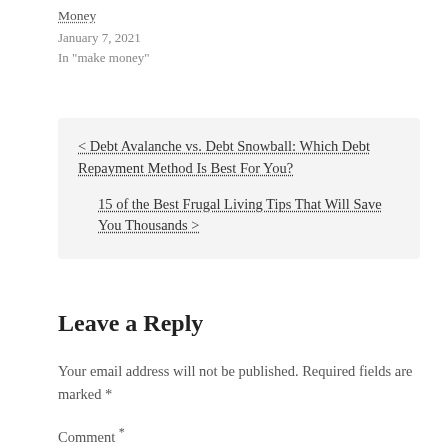Money
January 7, 2021
In "make money"
< Debt Avalanche vs. Debt Snowball: Which Debt Repayment Method Is Best For You?
15 of the Best Frugal Living Tips That Will Save You Thousands >
Leave a Reply
Your email address will not be published. Required fields are marked *
Comment *